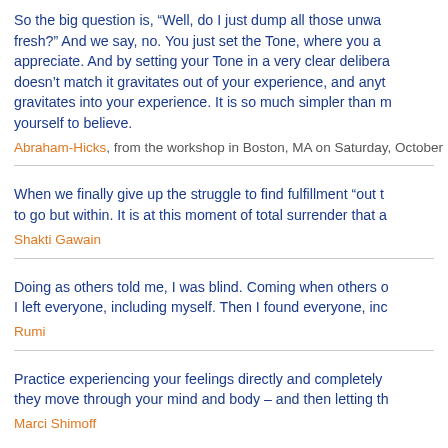So the big question is, “Well, do I just dump all those unwa fresh?” And we say, no. You just set the Tone, where you a appreciate. And by setting your Tone in a very clear delibera doesn’t match it gravitates out of your experience, and anyt gravitates into your experience. It is so much simpler than m yourself to believe.
Abraham-Hicks, from the workshop in Boston, MA on Saturday, October
When we finally give up the struggle to find fulfillment “out t to go but within. It is at this moment of total surrender that a
Shakti Gawain
Doing as others told me, I was blind. Coming when others o I left everyone, including myself. Then I found everyone, inc
Rumi
Practice experiencing your feelings directly and completely they move through your mind and body – and then letting th
Marci Shimoff